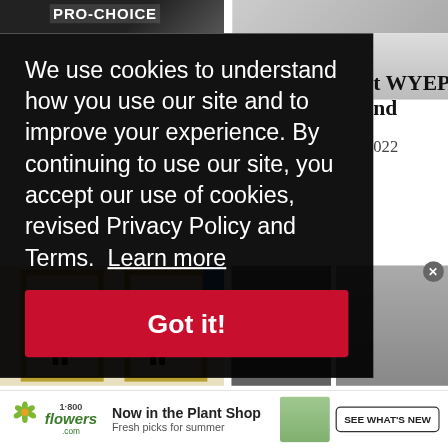[Figure (screenshot): Background webpage with two top images: left shows a PRO-CHOICE protest sign, right shows a social media post screenshot. Two bottom images: left shows Banksy-style artwork with silhouetted figures pushing frames, right shows close-up of a bearded man's face and a man in suit.]
We use cookies to understand how you use our site and to improve your experience. By continuing to use our site, you accept our use of cookies, revised Privacy Policy and Terms.  Learn more
Got it!
t WYEP,
nd
022
[Figure (screenshot): Advertisement banner for 1-800-Flowers Now in the Plant Shop, Fresh picks for summer, with SEE WHAT'S NEW button and plant image.]